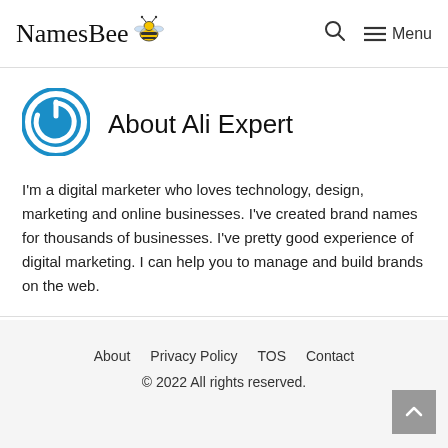NamesBee   🔍   ☰ Menu
About Ali Expert
I'm a digital marketer who loves technology, design, marketing and online businesses. I've created brand names for thousands of businesses. I've pretty good experience of digital marketing. I can help you to manage and build brands on the web.
About   Privacy Policy   TOS   Contact
© 2022 All rights reserved.